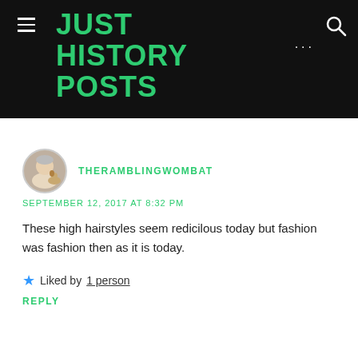JUST HISTORY POSTS
[Figure (photo): Circular avatar photo of a person with a dog]
THERAMBLINGWOMBAT
SEPTEMBER 12, 2017 AT 8:32 PM
These high hairstyles seem redicilous today but fashion was fashion then as it is today.
Liked by 1 person
REPLY